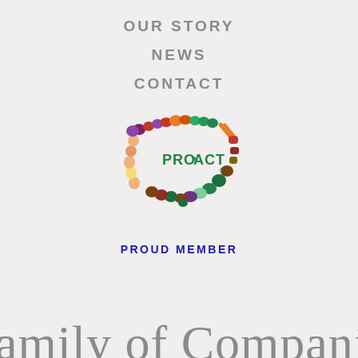OUR STORY
NEWS
CONTACT
[Figure (logo): PRO*ACT logo — outline of the contiguous United States formed by colorful illustrated fruits and vegetables, with 'PRO*ACT' in green text in the center and a registered trademark symbol]
PROUD MEMBER
Family of Companies